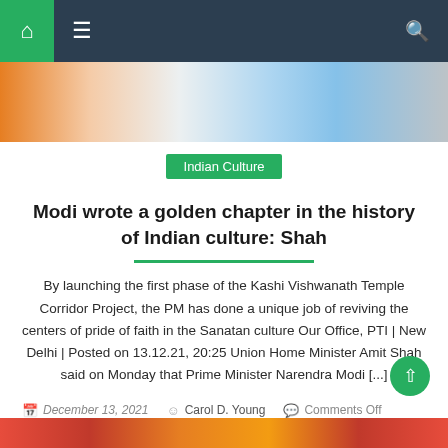Navigation bar with home, menu, and search icons
[Figure (photo): Partial photo of a person in traditional Indian attire, showing orange, white, and blue colors]
Indian Culture
Modi wrote a golden chapter in the history of Indian culture: Shah
By launching the first phase of the Kashi Vishwanath Temple Corridor Project, the PM has done a unique job of reviving the centers of pride of faith in the Sanatan culture Our Office, PTI | New Delhi | Posted on 13.12.21, 20:25 Union Home Minister Amit Shah said on Monday that Prime Minister Narendra Modi [...]
December 13, 2021   Carol D. Young   Comments Off